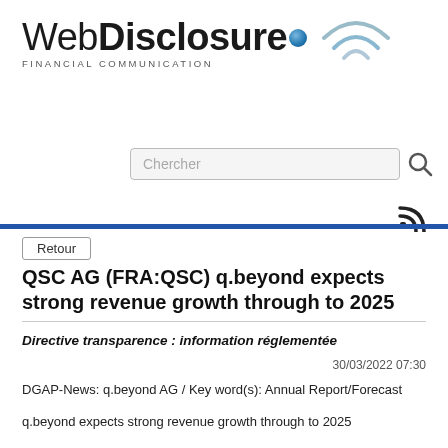[Figure (logo): WebDisclosure logo with WiFi signal arc icon top-right and blue globe dot, tagline FINANCIAL COMMUNICATION below]
[Figure (other): Search box with placeholder text Chercher and magnifying glass icon]
[Figure (other): RSS feed icon, dark, top right above blue bar]
Retour
QSC AG (FRA:QSC) q.beyond expects strong revenue growth through to 2025
Directive transparence : information réglementée
30/03/2022 07:30
DGAP-News: q.beyond AG / Key word(s): Annual Report/Forecast
q.beyond expects strong revenue growth through to 2025